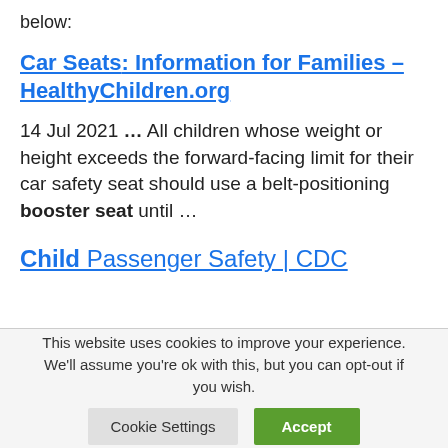below:
Car Seats: Information for Families – HealthyChildren.org
14 Jul 2021 … All children whose weight or height exceeds the forward-facing limit for their car safety seat should use a belt-positioning booster seat until …
Child Passenger Safety | CDC
This website uses cookies to improve your experience. We'll assume you're ok with this, but you can opt-out if you wish.